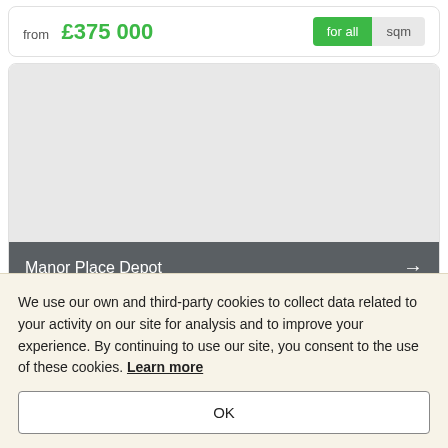from £375 000
[Figure (screenshot): Property listing card with grey image placeholder, dark grey title bar reading 'Manor Place Depot' with right arrow, and sub-row with Notting Hill Genesis Sales]
Notting Hill Genesis Sales
We use our own and third-party cookies to collect data related to your activity on our site for analysis and to improve your experience. By continuing to use our site, you consent to the use of these cookies. Learn more
OK